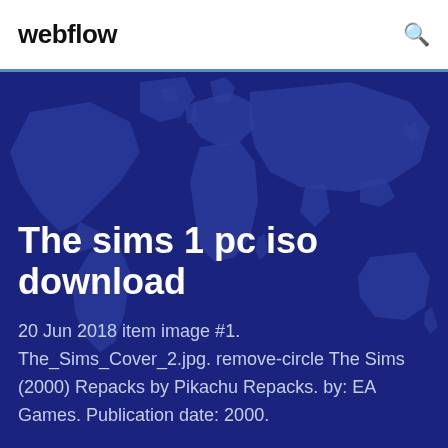webflow
[Figure (illustration): World map silhouette in teal/blue on dark navy background, used as hero background image]
The sims 1 pc iso download
20 Jun 2018 item image #1. The_Sims_Cover_2.jpg. remove-circle The Sims (2000) Repacks by Pikachu Repacks. by: EA Games. Publication date: 2000.